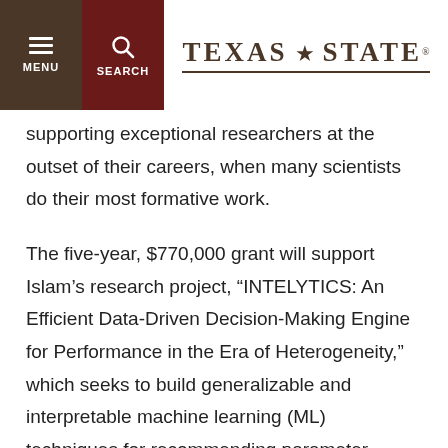TEXAS STATE [logo with star]
supporting exceptional researchers at the outset of their careers, when many scientists do their most formative work.
The five-year, $770,000 grant will support Islam’s research project, “INTELYTICS: An Efficient Data-Driven Decision-Making Engine for Performance in the Era of Heterogeneity,” which seeks to build generalizable and interpretable machine learning (ML) techniques for recommending parameter settings to users, software and facilities so that simulations can finish faster by efficiently utilizing the computing resources